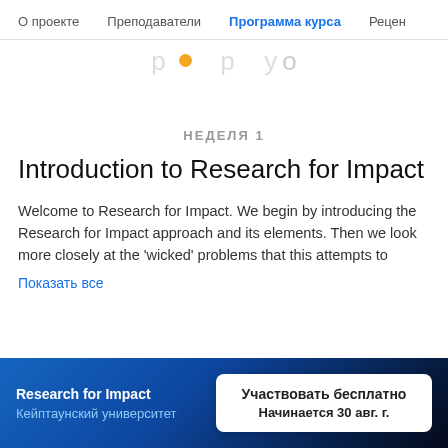О проекте   Преподаватели   Программа курса   Рецен
[Figure (screenshot): Partial banner with decorative large text and an orange dot, partially visible]
НЕДЕЛЯ 1
Introduction to Research for Impact
Welcome to Research for Impact. We begin by introducing the Research for Impact approach and its elements. Then we look more closely at the 'wicked' problems that this attempts to
Показать все
Research for Impact
Кейптаунский университет
Участвовать бесплатно
Начинается 30 авг. г.